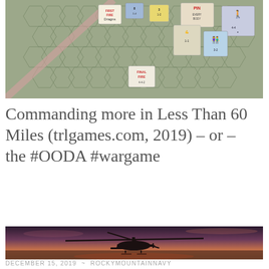[Figure (photo): Board game map with hexagonal grid and small cardboard unit tokens showing military figures and markers like 'PIN', 'FINAL FIRE']
Commanding more in Less Than 60 Miles (trlgames.com, 2019) – or – the #OODA #wargame
[Figure (photo): Silhouette of a military helicopter against a dramatic pink and purple sunset sky with smoke or haze in the background]
DECEMBER 15, 2019  ~  ROCKYMOUNTAINNAVY